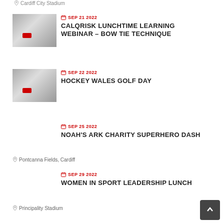Cardiff City Stadium
[Figure (photo): Grayscale photo of sports equipment with red accent]
SEP 21 2022
CALQRISK LUNCHTIME LEARNING WEBINAR – BOW TIE TECHNIQUE
[Figure (photo): Grayscale photo of sports equipment with red accent]
SEP 22 2022
HOCKEY WALES GOLF DAY
SEP 25 2022
NOAH'S ARK CHARITY SUPERHERO DASH
Pontcanna Fields, Cardiff
SEP 29 2022
WOMEN IN SPORT LEADERSHIP LUNCH
Principality Stadium